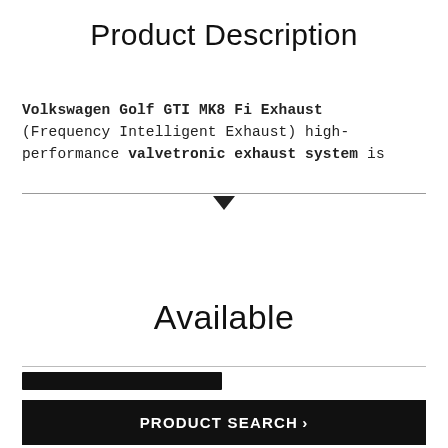Product Description
Volkswagen Golf GTI MK8 Fi Exhaust (Frequency Intelligent Exhaust) high-performance valvetronic exhaust system is
Available
[Figure (other): A black search input bar]
PRODUCT SEARCH>